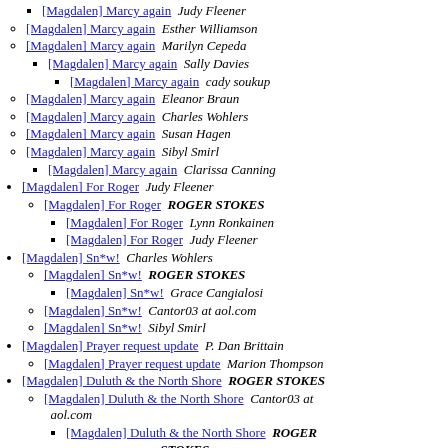[Magdalen] Marcy again  Judy Fleener (partial, top, square)
[Magdalen] Marcy again  Esther Williamson
[Magdalen] Marcy again  Marilyn Cepeda
[Magdalen] Marcy again  Sally Davies
[Magdalen] Marcy again  cady soukup
[Magdalen] Marcy again  Eleanor Braun
[Magdalen] Marcy again  Charles Wohlers
[Magdalen] Marcy again  Susan Hagen
[Magdalen] Marcy again  Sibyl Smirl
[Magdalen] Marcy again  Clarissa Canning
[Magdalen] For Roger  Judy Fleener
[Magdalen] For Roger  ROGER STOKES
[Magdalen] For Roger  Lynn Ronkainen
[Magdalen] For Roger  Judy Fleener
[Magdalen] Sn*w!  Charles Wohlers
[Magdalen] Sn*w!  ROGER STOKES
[Magdalen] Sn*w!  Grace Cangialosi
[Magdalen] Sn*w!  Cantor03 at aol.com
[Magdalen] Sn*w!  Sibyl Smirl
[Magdalen] Prayer request update  P. Dan Brittain
[Magdalen] Prayer request update  Marion Thompson
[Magdalen] Duluth & the North Shore  ROGER STOKES
[Magdalen] Duluth & the North Shore  Cantor03 at aol.com
[Magdalen] Duluth & the North Shore  ROGER STOKES (partial)